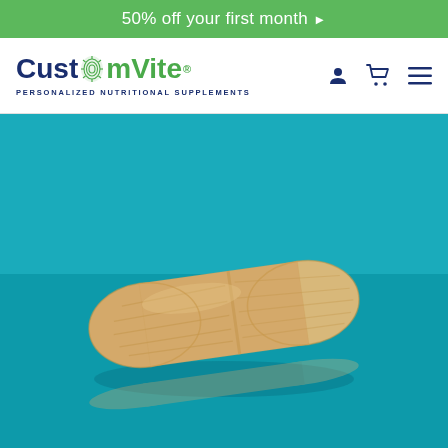50% off your first month ▶
[Figure (logo): CustomVite logo with fingerprint leaf icon and tagline PERSONALIZED NUTRITIONAL SUPPLEMENTS]
[Figure (photo): A single beige/tan nutritional supplement capsule resting on a reflective teal/cyan blue surface, with a faint reflection visible below it]